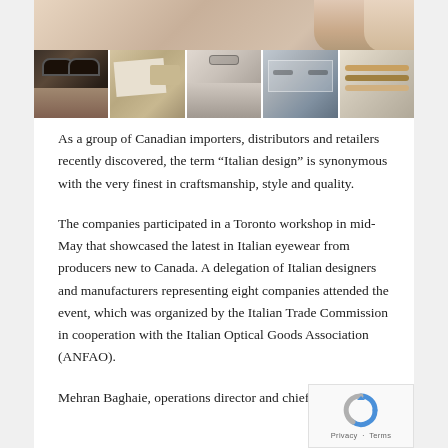[Figure (photo): A collage/strip of five photos: a woman wearing large dark sunglasses, eyeglass frames on display with documents, a fashion model with eyewear, eyewear displayed in a case, and a flat lay of eyeglass frames on a surface. Above the strip is a partial photo of a woman's neck/shoulder area.]
As a group of Canadian importers, distributors and retailers recently discovered, the term “Italian design” is synonymous with the very finest in craftsmanship, style and quality.
The companies participated in a Toronto workshop in mid-May that showcased the latest in Italian eyewear from producers new to Canada. A delegation of Italian designers and manufacturers representing eight companies attended the event, which was organized by the Italian Trade Commission in cooperation with the Italian Optical Goods Association (ANFAO).
Mehran Baghaie, operations director and chief designer at